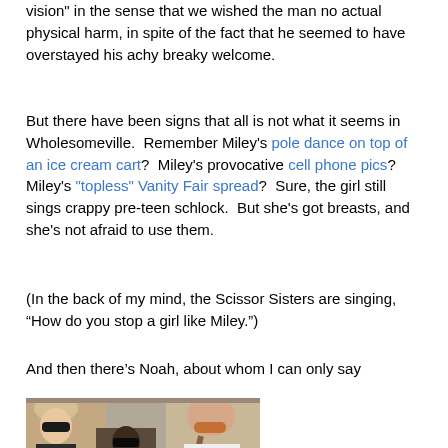vision" in the sense that we wished the man no actual physical harm, in spite of the fact that he seemed to have overstayed his achy breaky welcome.
But there have been signs that all is not what it seems in Wholesomeville. Remember Miley's pole dance on top of an ice cream cart? Miley's provocative cell phone pics? Miley's "topless" Vanity Fair spread? Sure, the girl still sings crappy pre-teen schlock. But she's got breasts, and she's not afraid to use them.
(In the back of my mind, the Scissor Sisters are singing, “How do you stop a girl like Miley.”)
And then there’s Noah, about whom I can only say
[Figure (photo): Photo of three women wearing sunglasses standing together, outdoors near a brick wall.]